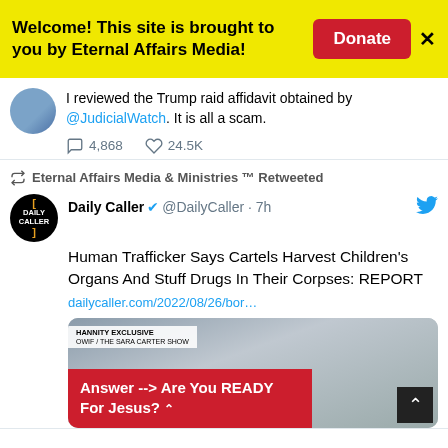Welcome! This site is brought to you by Eternal Affairs Media!
I reviewed the Trump raid affidavit obtained by @JudicialWatch. It is all a scam.
4,868  24.5K
Eternal Affairs Media & Ministries ™ Retweeted
Daily Caller @DailyCaller · 7h
Human Trafficker Says Cartels Harvest Children's Organs And Stuff Drugs In Their Corpses: REPORT
dailycaller.com/2022/08/26/bor…
[Figure (screenshot): Hannity Exclusive / The Sara Carter Show media thumbnail with blurred people in background]
Answer --> Are You READY For Jesus?